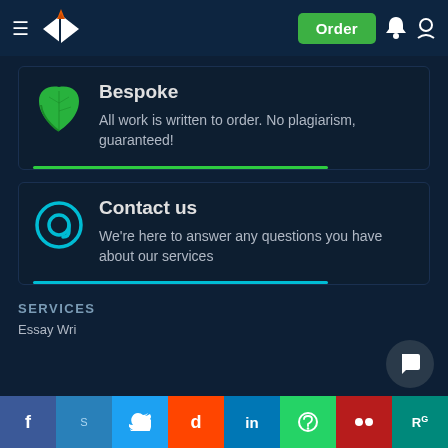Order
Bespoke
All work is written to order. No plagiarism, guaranteed!
Contact us
We're here to answer any questions you have about our services
SERVICES
Essay Wri...